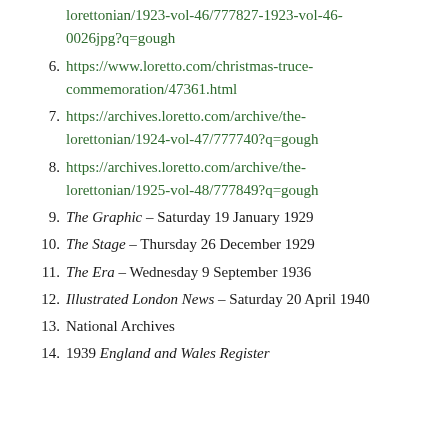lorettonian/1923-vol-46/777827-1923-vol-46-0026jpg?q=gough
6. https://www.loretto.com/christmas-truce-commemoration/47361.html
7. https://archives.loretto.com/archive/the-lorettonian/1924-vol-47/777740?q=gough
8. https://archives.loretto.com/archive/the-lorettonian/1925-vol-48/777849?q=gough
9. The Graphic – Saturday 19 January 1929
10. The Stage – Thursday 26 December 1929
11. The Era – Wednesday 9 September 1936
12. Illustrated London News – Saturday 20 April 1940
13. National Archives
14. 1939 England and Wales Register